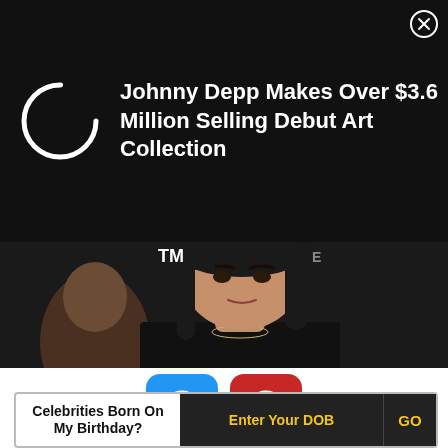[Figure (screenshot): Black ad banner with a loading spinner circle on the left and ad text on the right, with a close (X) button in the top right corner]
Johnny Depp Makes Over $3.6 Million Selling Debut Art Collection
[Figure (photo): Photo of a woman with long dark hair, light skin, wearing a black top and necklaces, at what appears to be a UFC or MMA event weigh-in]
[Figure (infographic): Two voting buttons: a blue square with an upward arrow and a red square with a downward arrow]
Celebrities Born On My Birthday?
Enter Your DOB
GO